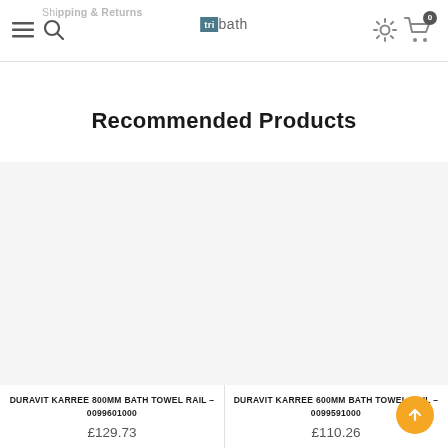Shipping & Returns | tri bath | Navigation
Recommended Products
DURAVIT KARREE 800MM BATH TOWEL RAIL – 0099601000
£129.73
DURAVIT KARREE 600MM BATH TOWEL RAIL – 0099591000
£110.26